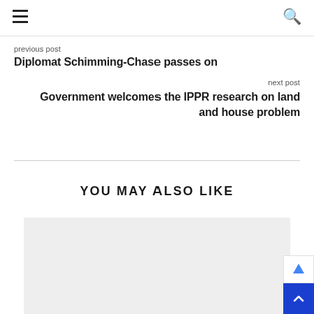≡  🔍
previous post
Diplomat Schimming-Chase passes on
next post
Government welcomes the IPPR research on land and house problem
YOU MAY ALSO LIKE
[Figure (photo): Gray placeholder image for a related article]